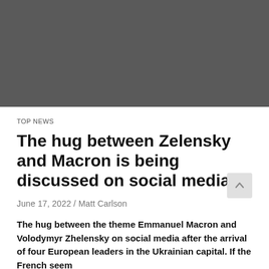[Figure (photo): Dark gray placeholder image at the top of the article page]
TOP NEWS
The hug between Zelensky and Macron is being discussed on social media
June 17, 2022 / Matt Carlson
The hug between the theme Emmanuel Macron and Volodymyr Zhelensky on social media after the arrival of four European leaders in the Ukrainian capital. If the French seem